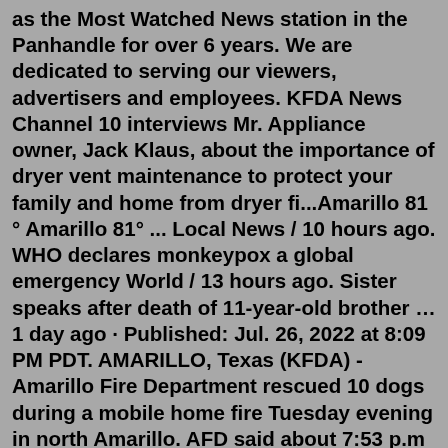as the Most Watched News station in the Panhandle for over 6 years. We are dedicated to serving our viewers, advertisers and employees. KFDA News Channel 10 interviews Mr. Appliance owner, Jack Klaus, about the importance of dryer vent maintenance to protect your family and home from dryer fi...Amarillo 81 ° Amarillo 81° ... Local News / 10 hours ago. WHO declares monkeypox a global emergency World / 13 hours ago. Sister speaks after death of 11-year-old brother … 1 day ago · Published: Jul. 26, 2022 at 8:09 PM PDT. AMARILLO, Texas (KFDA) - Amarillo Fire Department rescued 10 dogs during a mobile home fire Tuesday evening in north Amarillo. AFD said about 7:53 p.m ... KFDA-TV (channel 10) is a television station in Amarillo, Texas, United States, affiliated with CBS. It is owned by Gray Television alongside Borger -licensed Telemundo affiliate KEYU (channel 31). Both stations share studios on Broadway Drive (just south of West Cherry Avenue) in northern Amarillo, where KFDA's transmitter is also located. Check out today's TV